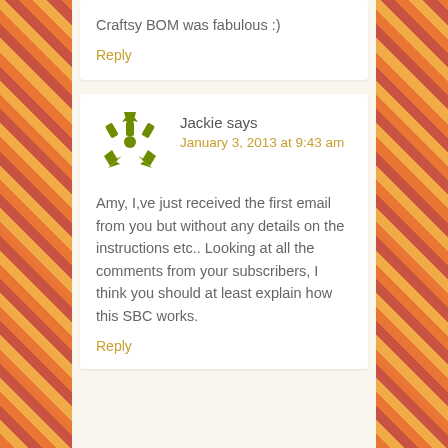Craftsy BOM was fabulous :)
Reply
Jackie says
January 3, 2013 at 9:43 am
Amy, I,ve just received the first email from you but without any details on the instructions etc.. Looking at all the comments from your subscribers, I think you should at least explain how this SBC works.
Reply